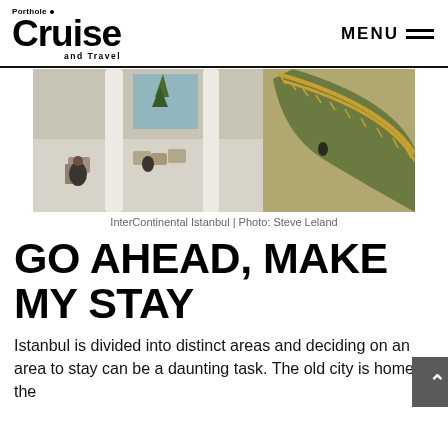Porthole Cruise and Travel | MENU
[Figure (photo): Aerial interior view of the InterContinental Istanbul hotel lobby showing a grand staircase with gold railings and green carpet, white columns, and guests seated in the lobby area.]
InterContinental Istanbul | Photo: Steve Leland
GO AHEAD, MAKE MY STAY
Istanbul is divided into distinct areas and deciding on an area to stay can be a daunting task. The old city is home to the